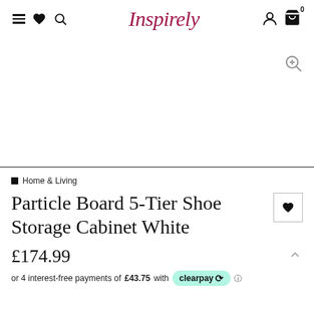Inspirely — navigation bar with hamburger, heart, search, logo, user icon, bag icon (0 items)
[Figure (other): Product image area (white/blank) with zoom icon in top right corner]
Home & Living
Particle Board 5-Tier Shoe Storage Cabinet White
£174.99
or 4 interest-free payments of £43.75 with clearpay